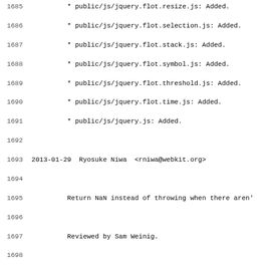Code changelog/log file showing line numbers 1685-1716 with commit entries for Ryosuke Niwa dated 2013-01-29 and 2013-01-28
1685  * public/js/jquery.flot.resize.js: Added.
1686  * public/js/jquery.flot.selection.js: Added.
1687  * public/js/jquery.flot.stack.js: Added.
1688  * public/js/jquery.flot.symbol.js: Added.
1689  * public/js/jquery.flot.threshold.js: Added.
1690  * public/js/jquery.flot.time.js: Added.
1691  * public/js/jquery.js: Added.
1693 2013-01-29  Ryosuke Niwa  <rniwa@webkit.org>
1695        Return NaN instead of throwing when there aren't
1697        Reviewed by Sam Weinig.
1699        It's better to return NaN when we don't have en
1700        as if we don't have any confidence interval.
1702        * public/js/statistics.js:
1703        (Statistics.new):
1705 2013-01-28  Ryosuke Niwa  <rniwa@webkit.org>
1707        Build fix. Apparently Safari sometimes appends
1709        * public/js/helper-classes.js:
1710        (URLState.parseIfNeeded):
1712 2013-01-28  Ryosuke Niwa  <rniwa@webkit.org>
1714        <rdar://problem/13081582> SafariPerfMonitor: Al
1716        Reviewed by Ricky Mondello.